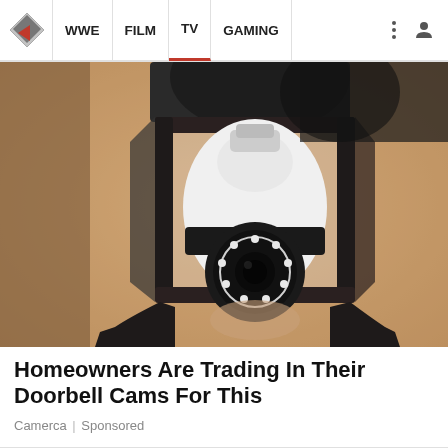WWE | FILM | TV | GAMING
[Figure (photo): A close-up photo of a security camera bulb being installed into a black outdoor lantern wall fixture mounted on a sandy stucco wall. The camera bulb is white and round with a black circular lens with LED ring at the bottom, resembling a security camera eye.]
Homeowners Are Trading In Their Doorbell Cams For This
Camerca | Sponsored